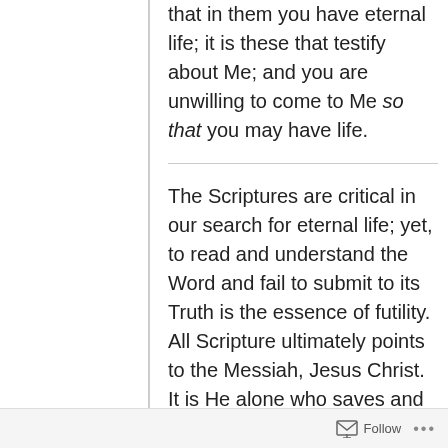that in them you have eternal life; it is these that testify about Me; and you are unwilling to come to Me so that you may have life.
The Scriptures are critical in our search for eternal life; yet, to read and understand the Word and fail to submit to its Truth is the essence of futility. All Scripture ultimately points to the Messiah, Jesus Christ. It is He alone who saves and the Scriptures point clearly and directly to Him. Reading the Bible and missing Jesus is something like reading the menu at a fine restaurant, ordering the skimpy little appetizers and never ordering the main course. It is easy to get caught up in the amazing
Follow